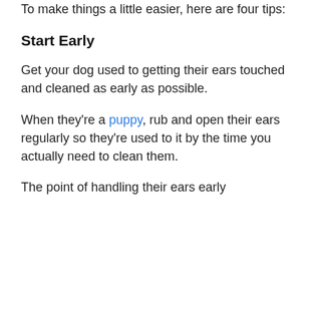To make things a little easier, here are four tips:
Start Early
Get your dog used to getting their ears touched and cleaned as early as possible.
When they're a puppy, rub and open their ears regularly so they're used to it by the time you actually need to clean them.
The point of handling their ears early is to get them used to feeling...